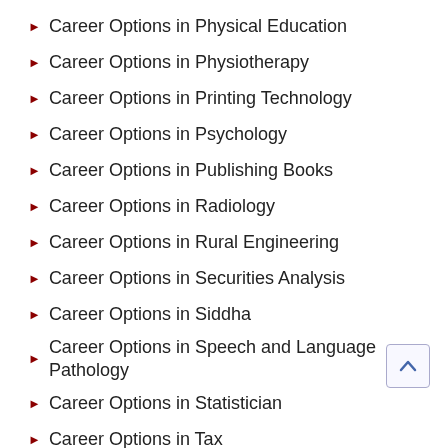Career Options in Physical Education
Career Options in Physiotherapy
Career Options in Printing Technology
Career Options in Psychology
Career Options in Publishing Books
Career Options in Radiology
Career Options in Rural Engineering
Career Options in Securities Analysis
Career Options in Siddha
Career Options in Speech and Language Pathology
Career Options in Statistician
Career Options in Tax
Career Options in TeleCommunication
Career Options in Television Studies
Career Options in Unani Medicine
Career Options in Yoga